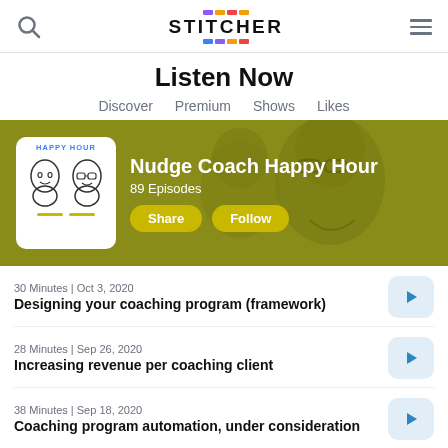Stitcher - Listen Now
Listen Now
Discover  Premium  Shows  Likes
[Figure (screenshot): Nudge Coach Happy Hour podcast banner with yellow-green background and illustrated faces. Shows podcast thumbnail with two illustrated faces, 'HAPPY HOUR' label, Share and Follow buttons.]
Nudge Coach Happy Hour
89 Episodes
30 Minutes | Oct 3, 2020
Designing your coaching program (framework)
28 Minutes | Sep 26, 2020
Increasing revenue per coaching client
38 Minutes | Sep 18, 2020
Coaching program automation, under consideration
35 Minutes | Sep 12, 2020